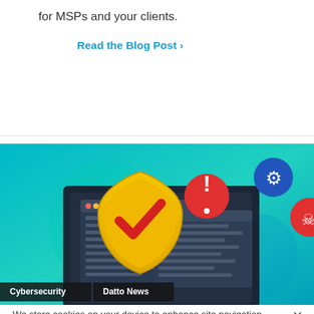for MSPs and your clients.
Read the Blog Post >
[Figure (illustration): Cybersecurity illustration showing a laptop with a gold security shield bearing a red checkmark in the center, with warning icons (red exclamation circle, blue gear, red skull) floating around. Background is teal/cyan gradient. Tags at bottom: Cybersecurity, Datto News.]
We store cookies on your device to enhance site navigation, analyze site usage, and assist in our marketing efforts. If you would like to opt-out of any cookies you may visit our cookie